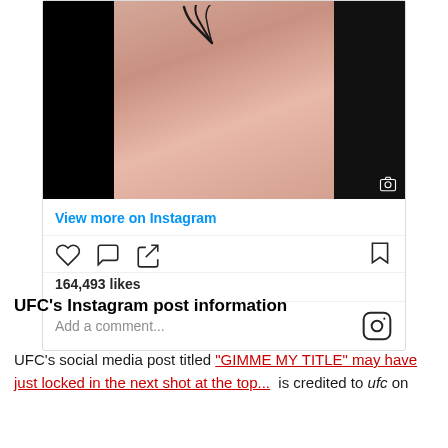[Figure (screenshot): Instagram post screenshot showing a shirtless male fighter with a tattoo on his shoulder/neck area, dark background on sides, with Instagram UI elements below including 'View more on Instagram' link, like/comment/share icons, 164,493 likes, and a comment input field with Instagram logo]
UFC's Instagram post information
UFC's social media post titled "GIMME MY TITLE" may have just locked in the next shot at the top... is credited to ufc on